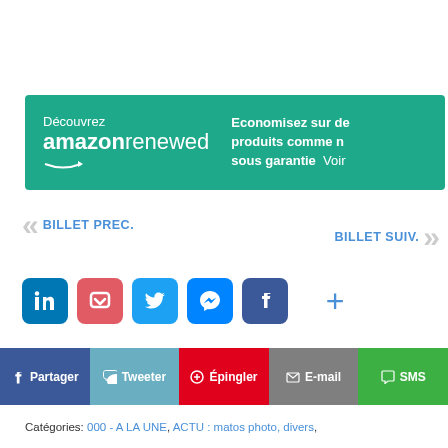[Figure (other): Amazon Renewed advertisement banner with teal/green background showing 'Découvrez amazon renewed' on the left and 'Economisez sur de produits comme n sous garantie Voir' on the right]
« BILLET PREC.
BILLET SUIV. »
[Figure (other): Social sharing icons row: LinkedIn (blue), Pocket (red), Twitter (blue), Messenger (blue), Facebook (blue), and a + button]
[Figure (other): Share action bar with buttons: Partager, Tweeter, Épingler, E-mail, SMS]
Catégories: 000 - A LA UNE, ACTU : matos photo, divers, APN : Nikon